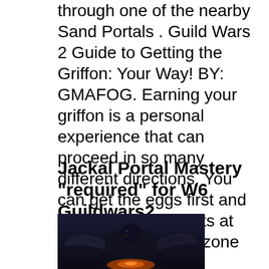through one of the nearby Sand Portals . Guild Wars 2 Guide to Getting the Griffon: Your Way! BY: GMAFOG. Earning your griffon is a personal experience that can proceed in so many different directions. You can get the eggs first and do hearts and events at the end or do each zone for their separate achievements. By this time, if you have not earned your griffon, I suspect you are
Jackal Portal Mastery "required" for W6 Guildwars2
[Figure (photo): A dark fantasy image of a griffon creature with dark feathers and wings, with orange/fire glow at the bottom center.]